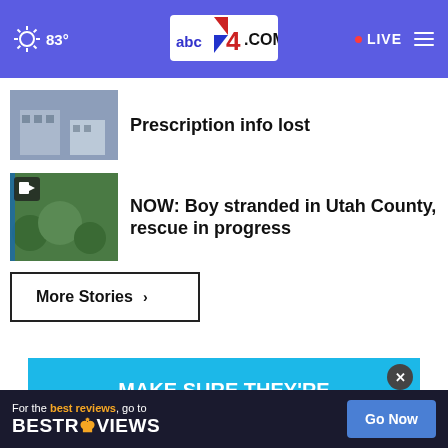83° LIVE abc4.com
Prescription info lost
NOW: Boy stranded in Utah County, rescue in progress
More Stories ›
[Figure (infographic): Advertisement: MAKE SURE THEY'RE IN THE RIGHT CAR SEAT with car seat imagery]
For the best reviews, go to BESTREVIEWS — Go Now